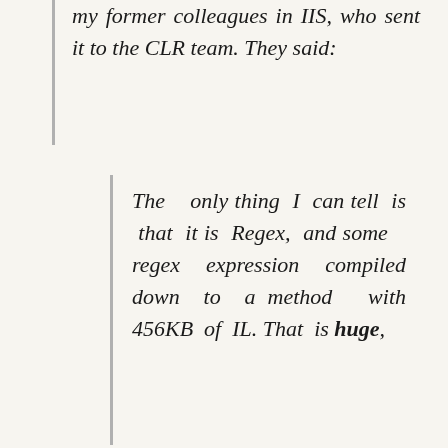my former colleagues in IIS, who sent it to the CLR team. They said:
The only thing I can tell is that it is Regex, and some regex expression compiled down to a method with 456KB of IL. That is huge,